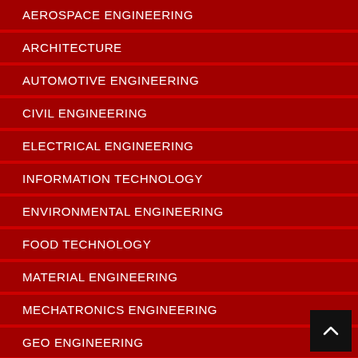AEROSPACE ENGINEERING
ARCHITECTURE
AUTOMOTIVE ENGINEERING
CIVIL ENGINEERING
ELECTRICAL ENGINEERING
INFORMATION TECHNOLOGY
ENVIRONMENTAL ENGINEERING
FOOD TECHNOLOGY
MATERIAL ENGINEERING
MECHATRONICS ENGINEERING
GEO ENGINEERING